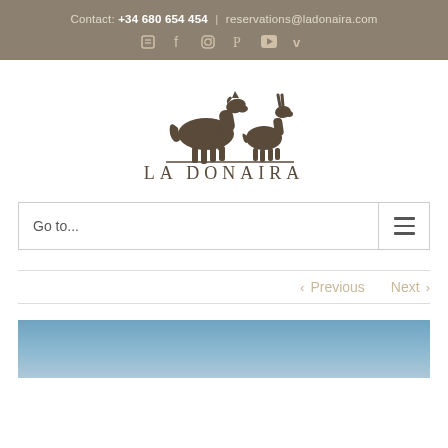Contact: +34 680 654 454 | reservations@ladonaira.com
[Figure (logo): La Donaira logo with horse and donkey illustration above the text LA DONAIRA]
Go to...
< Previous   Next >
[Figure (photo): Blue sky gradient photo at bottom of page]